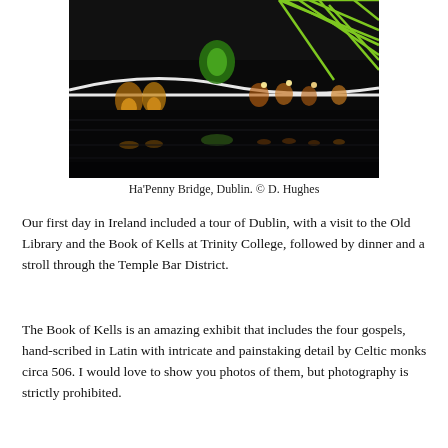[Figure (photo): Night photograph of Ha'Penny Bridge, Dublin, reflected in the River Liffey, with green and amber lights illuminating the bridge and waterway. Green lattice structure visible in upper right.]
Ha'Penny Bridge, Dublin. © D. Hughes
Our first day in Ireland included a tour of Dublin, with a visit to the Old Library and the Book of Kells at Trinity College, followed by dinner and a stroll through the Temple Bar District.
The Book of Kells is an amazing exhibit that includes the four gospels, hand-scribed in Latin with intricate and painstaking detail by Celtic monks circa 506. I would love to show you photos of them, but photography is strictly prohibited.